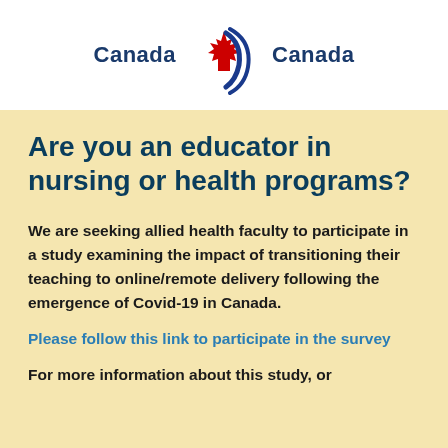[Figure (logo): Dual Canadian organization logos with maple leaf and swoosh icon, with 'Canada' text on left and 'Canada' text on right]
Are you an educator in nursing or health programs?
We are seeking allied health faculty to participate in a study examining the impact of transitioning their teaching to online/remote delivery following the emergence of Covid-19 in Canada.
Please follow this link to participate in the survey
For more information about this study, or